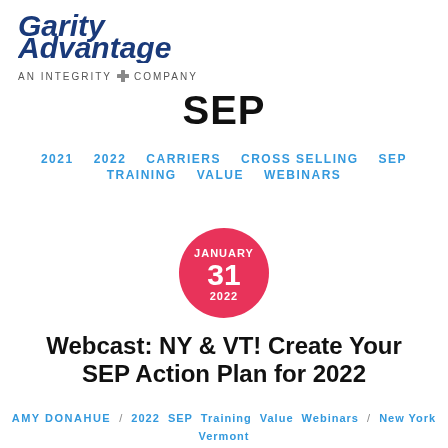[Figure (logo): Garity Advantage - An Integrity Company logo in blue italic bold font with tagline]
SEP
2021  2022  CARRIERS  CROSS SELLING  SEP  TRAINING  VALUE  WEBINARS
[Figure (infographic): Pink/red circle with date: JANUARY 31 2022]
Webcast: NY & VT! Create Your SEP Action Plan for 2022
AMY DONAHUE / 2022 SEP Training Value Webinars / New York Vermont